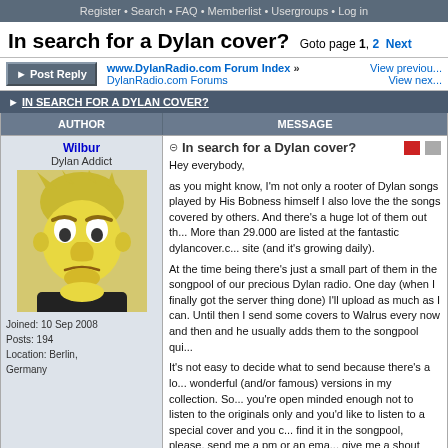Register • Search • FAQ • Memberlist • Usergroups • Log in
In search for a Dylan cover? Goto page 1, 2 Next
www.DylanRadio.com Forum Index » DylanRadio.com Forums
View previous | View next
IN SEARCH FOR A DYLAN COVER?
| AUTHOR | MESSAGE |
| --- | --- |
| Wilbur
Dylan Addict
Joined: 10 Sep 2008
Posts: 194
Location: Berlin, Germany | In search for a Dylan cover?
Hey everybody,

as you might know, I'm not only a rooter of Dylan songs played by His Bobness himself I also love the the songs covered by others. And there's a huge lot of them out there. More than 29.000 are listed at the fantastic dylancover.com site (and it's growing daily).

At the time being there's just a small part of them in the songpool of our precious Dylan radio. One day (when I finally got the server thing done) I'll upload as much as I can. Until then I send some covers to Walrus every now and then and he usually adds them to the songpool quickly.

It's not easy to decide what to send because there's a lot of wonderful (and/or famous) versions in my collection. So if you're open minded enough not to listen to the originals only and you'd like to listen to a special cover and you can't find it in the songpool, please, send me a pm or an email or give me a shout when I'm around. I'll immediately check... |